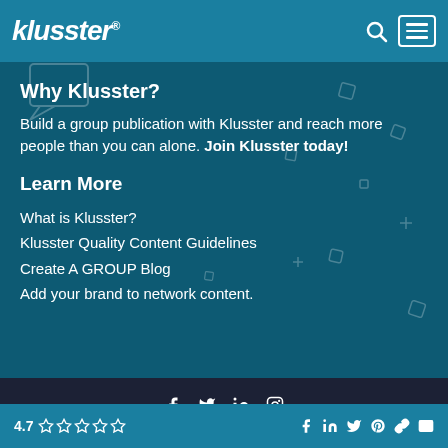klusster®
[Figure (logo): Klusster logo with search icon and hamburger menu on teal header bar]
Why Klusster?
Build a group publication with Klusster and reach more people than you can alone. Join Klusster today!
Learn More
What is Klusster?
Klusster Quality Content Guidelines
Create A GROUP Blog
Add your brand to network content.
© 2019 Klusster Media, Inc.
4.7 ☆☆☆☆☆